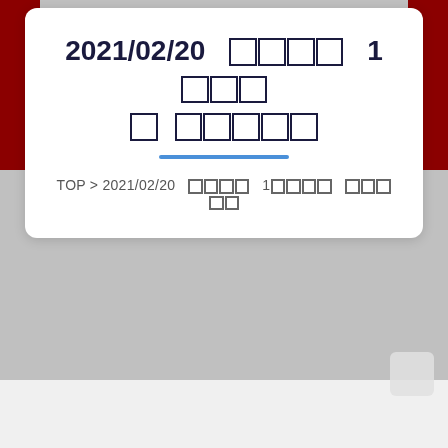2021/02/20 　　　　 1
TOP > 2021/02/20 　　　　 1